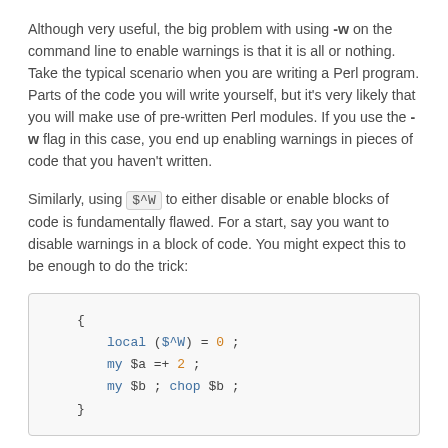Although very useful, the big problem with using -w on the command line to enable warnings is that it is all or nothing. Take the typical scenario when you are writing a Perl program. Parts of the code you will write yourself, but it's very likely that you will make use of pre-written Perl modules. If you use the -w flag in this case, you end up enabling warnings in pieces of code that you haven't written.
Similarly, using $^W to either disable or enable blocks of code is fundamentally flawed. For a start, say you want to disable warnings in a block of code. You might expect this to be enough to do the trick:
[Figure (other): Code block showing Perl code: { local ($^W) = 0 ; my $a =+ 2 ; my $b ; chop $b ; }]